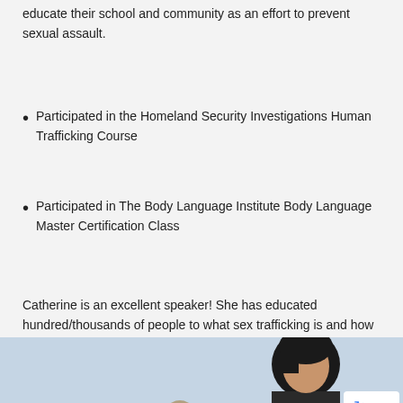educate their school and community as an effort to prevent sexual assault.
Participated in the Homeland Security Investigations Human Trafficking Course
Participated in The Body Language Institute Body Language Master Certification Class
Catherine is an excellent speaker! She has educated hundred/thousands of people to what sex trafficking is and how the genesis of trafficking and so much more is directly linked to child sexual assault.
[Figure (photo): Photo of a woman with dark hair appearing to speak or present, photographed from the shoulders up. A bell or small object is visible in the foreground. There is a reCAPTCHA / Privacy - Terms badge overlay in the bottom right corner.]